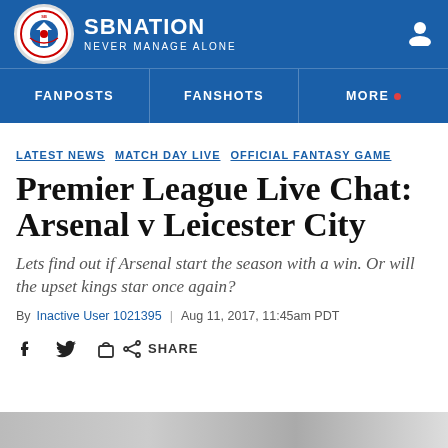SBNation - NEVER MANAGE ALONE
FANPOSTS | FANSHOTS | MORE
LATEST NEWS  MATCH DAY LIVE  OFFICIAL FANTASY GAME
Premier League Live Chat: Arsenal v Leicester City
Lets find out if Arsenal start the season with a win. Or will the upset kings star once again?
By Inactive User 1021395 | Aug 11, 2017, 11:45am PDT
SHARE